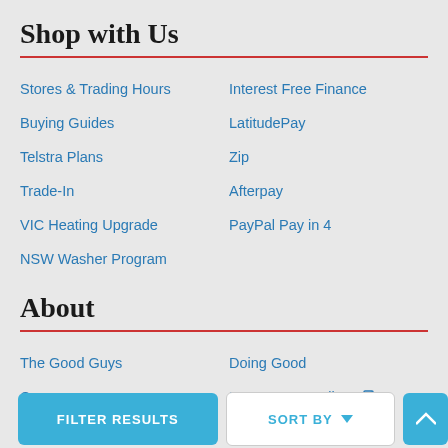Shop with Us
Stores & Trading Hours
Interest Free Finance
Buying Guides
LatitudePay
Telstra Plans
Zip
Trade-In
Afterpay
VIC Heating Upgrade
PayPal Pay in 4
NSW Washer Program
About
The Good Guys
Doing Good
Careers
E-Waste Recycling
Sitemap
Media
Privacy Policy
Investor Information
Ter